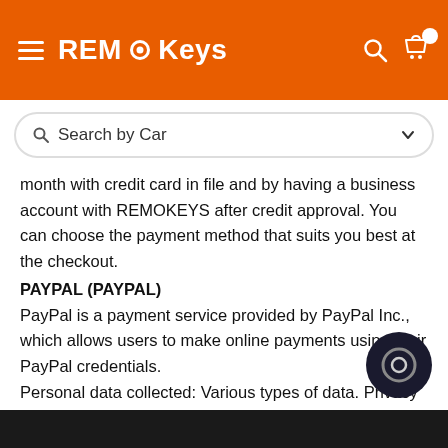REMOKeys — Search by Car
month with credit card in file and by having a business account with REMOKEYS after credit approval. You can choose the payment method that suits you best at the checkout.
PAYPAL (PAYPAL)
PayPal is a payment service provided by PayPal Inc., which allows users to make online payments using their PayPal credentials.
Personal data collected: Various types of data. Privacy Policy
The services contained in this section enable the Owner to monitor and analyze web traffic and can be used to keep track of User behavior.